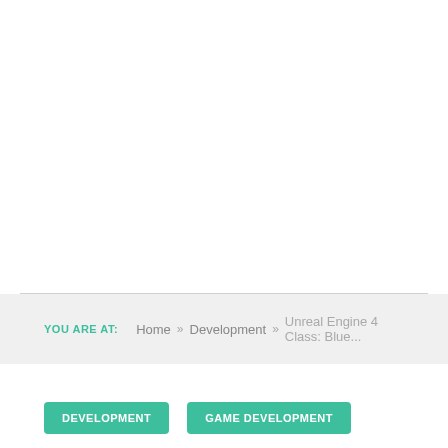YOU ARE AT: Home » Development » Unreal Engine 4 Class: Blue...
DEVELOPMENT
GAME DEVELOPMENT